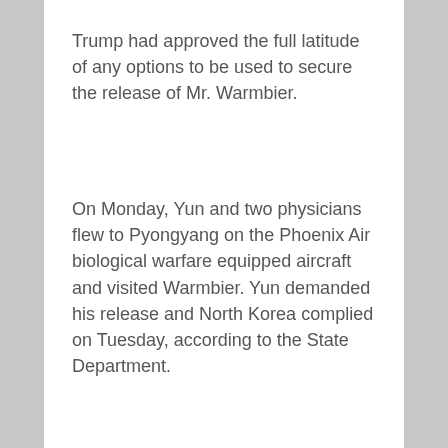Trump had approved the full latitude of any options to be used to secure the release of Mr. Warmbier.
On Monday, Yun and two physicians flew to Pyongyang on the Phoenix Air biological warfare equipped aircraft and visited Warmbier. Yun demanded his release and North Korea complied on Tuesday, according to the State Department.